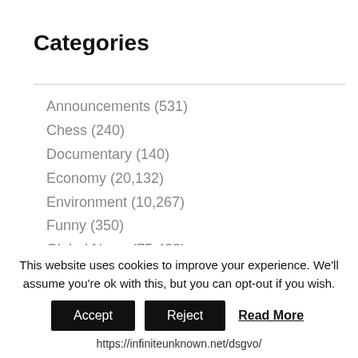Categories
Announcements (531)
Chess (240)
Documentary (140)
Economy (20,132)
Environment (10,267)
Funny (350)
Global News (75,433)
Good News (124)
Health (13,441)
Music (75)
This website uses cookies to improve your experience. We'll assume you're ok with this, but you can opt-out if you wish.
Accept | Reject | Read More
https://infiniteunknown.net/dsgvo/